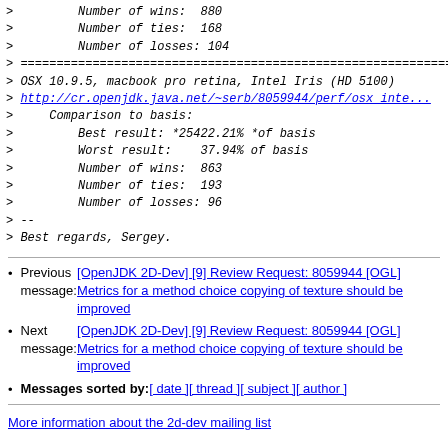>         Number of wins:  880
>         Number of ties:  168
>         Number of losses: 104
> ================================================================
> OSX 10.9.5, macbook pro retina, Intel Iris (HD 5100)
> http://cr.openjdk.java.net/~serb/8059944/perf/osx_inte...
>     Comparison to basis:
>         Best result: *25422.21% *of basis
>         Worst result:    37.94% of basis
>         Number of wins:  863
>         Number of ties:  193
>         Number of losses: 96
> --
> Best regards, Sergey.
Previous message: [OpenJDK 2D-Dev] [9] Review Request: 8059944 [OGL] Metrics for a method choice copying of texture should be improved
Next message: [OpenJDK 2D-Dev] [9] Review Request: 8059944 [OGL] Metrics for a method choice copying of texture should be improved
Messages sorted by: [ date ] [ thread ] [ subject ] [ author ]
More information about the 2d-dev mailing list